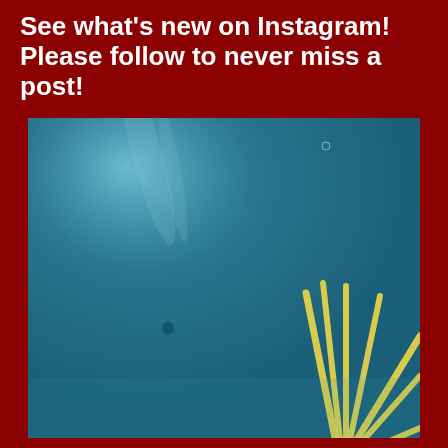See what's new on Instagram! Please follow to never miss a post!
[Figure (photo): A teal/blue textured background photograph with a hand-drawn style yellow sunburst or radiating lines pattern on the right side, resembling rays of a sun or starburst design]